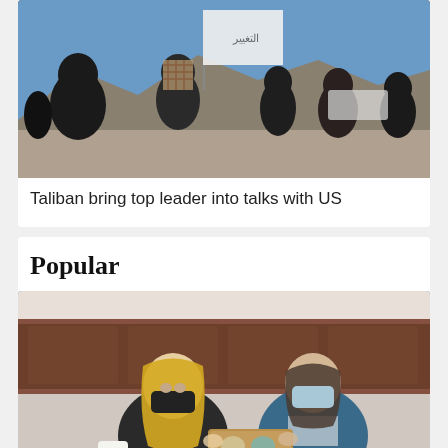[Figure (photo): Group of men in Afghanistan, one holding a white Taliban flag, another with a checkered headscarf covering his face, mountains and vehicles in background]
Taliban bring top leader into talks with US
Popular
[Figure (photo): Two women wearing face masks, one blonde in dark clothing and one in a blue blazer, holding a wooden box with items inside]